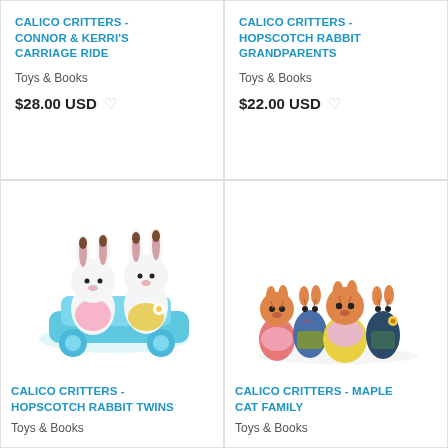CALICO CRITTERS - CONNOR & KERRI'S CARRIAGE RIDE
Toys & Books
$28.00 USD
CALICO CRITTERS - HOPSCOTCH RABBIT GRANDPARENTS
Toys & Books
$22.00 USD
[Figure (photo): Two white Calico Critters bunny figures sitting in a light blue toy car]
CALICO CRITTERS - HOPSCOTCH RABBIT TWINS
Toys & Books
[Figure (photo): Four orange tabby cat Calico Critters figures dressed in colorful outfits standing together]
CALICO CRITTERS - MAPLE CAT FAMILY
Toys & Books